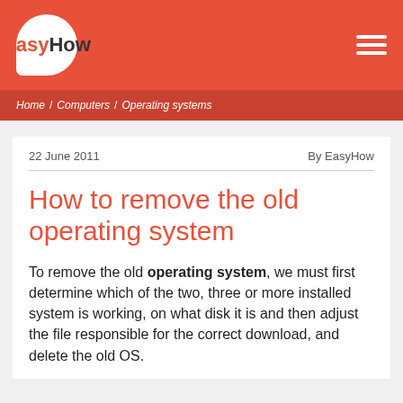EasyHow
Home / Computers / Operating systems
22 June 2011   By EasyHow
How to remove the old operating system
To remove the old operating system, we must first determine which of the two, three or more installed system is working, on what disk it is and then adjust the file responsible for the correct download, and delete the old OS.